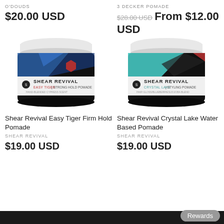O'DOUDS
$20.00 USD
3 DECKER POMADE
$28.00 USD  From $12.00 USD
[Figure (photo): Shear Revival Easy Tiger Firm Hold Pomade jar with dark label featuring blue and red geometric design]
[Figure (photo): Shear Revival Crystal Lake Water Based Pomade jar with dark label featuring teal and red geometric design]
Shear Revival Easy Tiger Firm Hold Pomade
SHEAR REVIVAL
$19.00 USD
Shear Revival Crystal Lake Water Based Pomade
SHEAR REVIVAL
$19.00 USD